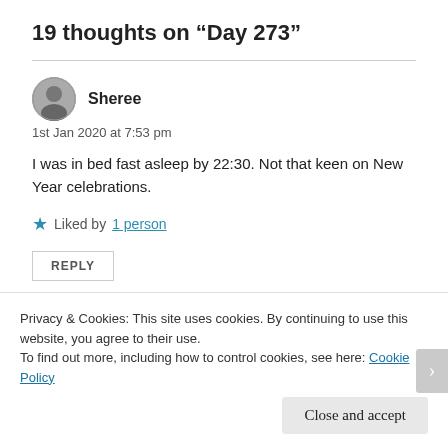19 thoughts on “Day 273”
1st Jan 2020 at 7:53 pm
I was in bed fast asleep by 22:30. Not that keen on New Year celebrations.
★ Liked by 1 person
REPLY
Privacy & Cookies: This site uses cookies. By continuing to use this website, you agree to their use.
To find out more, including how to control cookies, see here: Cookie Policy
Close and accept